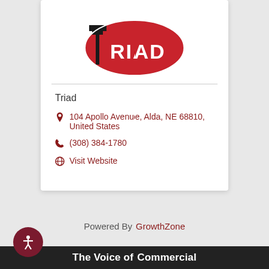[Figure (logo): Triad company logo: red oval with white 'TRIAD' text and stylized 'T' mark in black]
Triad
104 Apollo Avenue, Alda, NE 68810, United States
(308) 384-1780
Visit Website
Powered By GrowthZone
The Voice of Commercial